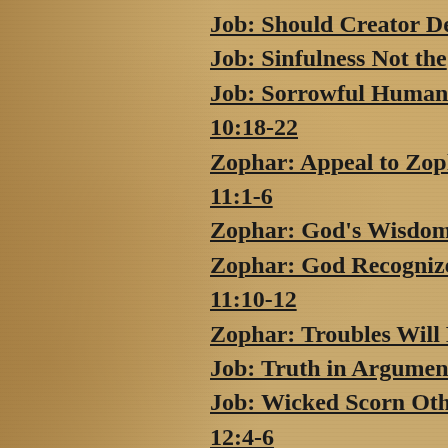Job: Should Creator De…
Job: Sinfulness Not the…
Job: Sorrowful Human…
10:18-22
Zophar: Appeal to Zoph…
11:1-6
Zophar: God's Wisdom…
Zophar: God Recognize…
11:10-12
Zophar: Troubles Will P…
Job: Truth in Arguments…
Job: Wicked Scorn Othe…
12:4-6…